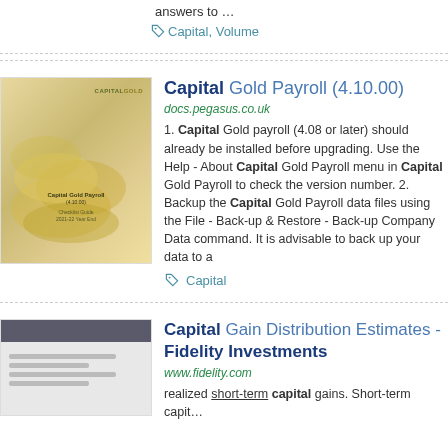answers to …
Capital, Volume
Capital Gold Payroll (4.10.00)
docs.pegasus.co.uk
1. Capital Gold payroll (4.08 or later) should already be installed before upgrading. Use the Help - About Capital Gold Payroll menu in Capital Gold Payroll to check the version number. 2. Backup the Capital Gold Payroll data files using the File - Back-up & Restore - Back-up Company Data command. It is advisable to back up your data to a
Capital
Capital Gain Distribution Estimates - Fidelity Investments
www.fidelity.com
realized short-term capital gains. Short-term capit…